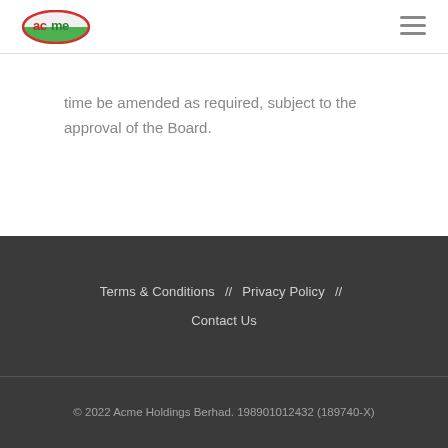ACME Holdings Berhad logo and navigation
time be amended as required, subject to the approval of the Board.
Terms & Conditions // Privacy Policy // Contact Us
© 2022 Acme Holdings Berhad. 198901012432 (189740-X)